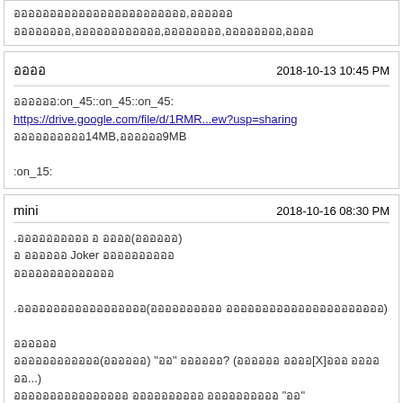ออออออออออออออออออออออออ,ออออออ
ออออออออ,ออออออออออออ,ออออออออ,ออออออออ,ออออ
ออออ
2018-10-13 10:45 PM

ออออออ:on_45::on_45::on_45:
https://drive.google.com/file/d/1RMR...ew?usp=sharing
ออออออออออ14MB,ออออออ9MB

:on_15:
mini
2018-10-16 08:30 PM

.ออออออออออ อ ออออ(ออออออ)
อ ออออออ Joker ออออออออออ
ออออออออออออออ

.ออออออออออออออออออ(ออออออออออ ออออออออออออออออออออออ)

ออออออ
ออออออออออออ(ออออออ) "ออ" ออออออ? (ออออออ ออออ[X]อออ ออออออ...)
ออออออออออออออออ ออออออออออ ออออออออออ "ออ"

.ออออออออ ?ออออออ
ออออออออออออออ ออออ(ออออออออออออ ออออออออออออ ออออ)
ออออออออออ
ออออออออออออออออออออออ (ออออออออออออออออออ)